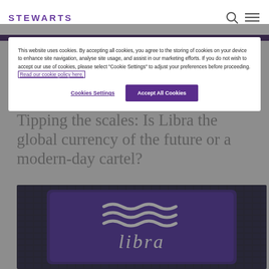STEWARTS
This website uses cookies. By accepting all cookies, you agree to the storing of cookies on your device to enhance site navigation, analyse site usage, and assist in our marketing efforts. If you do not wish to accept our use of cookies, please select "Cookie Settings" to adjust your preferences before proceeding. Read our cookie policy here.
Cookies Settings
Accept All Cookies
Tipping the scales: Is Libra the global currency of the future or a modern-day cartel?
[Figure (photo): Close-up photo of a tablet or phone screen displaying the Libra cryptocurrency logo (three wavy lines and the word 'libra') on a purple/blue background, placed on top of a keyboard or circuit board.]